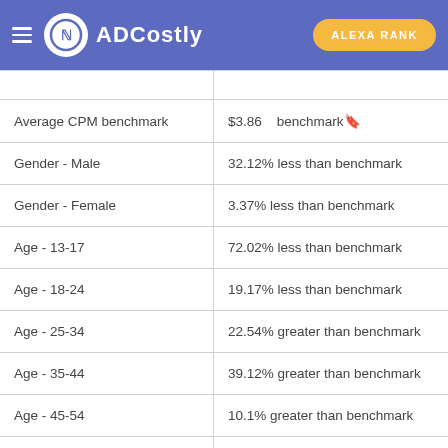ADCostly | ALEXA RANK
|  |  |
| --- | --- |
| Average CPM benchmark | $3.86    benchmark🔖 |
| Gender - Male | 32.12% less than benchmark |
| Gender - Female | 3.37% less than benchmark |
| Age - 13-17 | 72.02% less than benchmark |
| Age - 18-24 | 19.17% less than benchmark |
| Age - 25-34 | 22.54% greater than benchmark |
| Age - 35-44 | 39.12% greater than benchmark |
| Age - 45-54 | 10.1% greater than benchmark |
| Age - 55-64 | 31.87% less than benchmark |
| Age - 65+ | 51.04% less than benchmark |